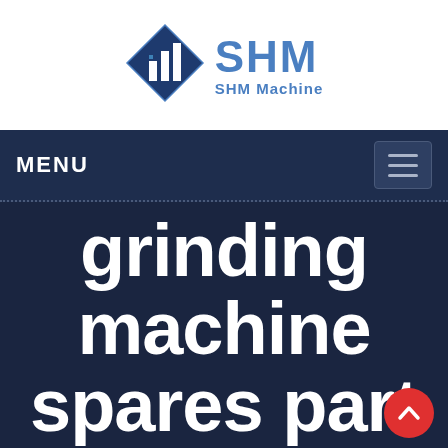[Figure (logo): SHM Machine logo — blue diamond shape with building/chart icon inside, next to bold blue 'SHM' text and 'SHM Machine' subtitle]
MENU
grinding machine spares part customer case